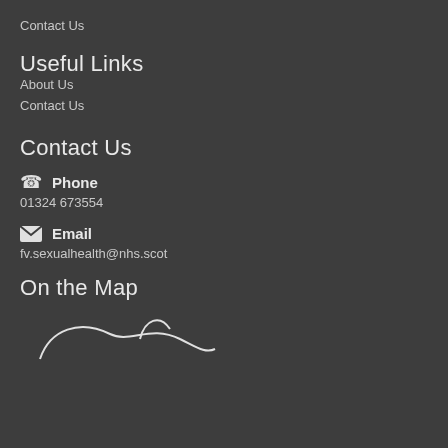Contact Us
Useful Links
About Us
Contact Us
Contact Us
Phone
01324 673554
Email
fv.sexualhealth@nhs.scot
On the Map
[Figure (map): Partial map outline shown at bottom of page]